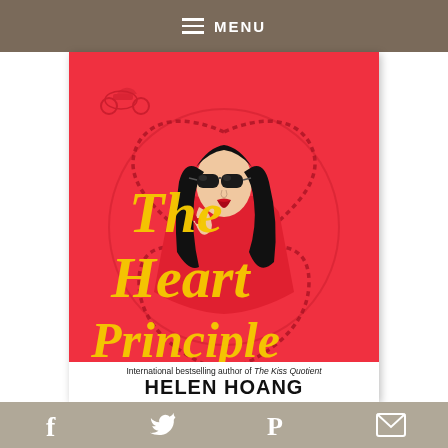MENU
[Figure (illustration): Book cover for 'The Heart Principle' by Helen Hoang. Red background with illustrated woman wearing black sunglasses and red outfit, with yellow script title text and a decorative heart outline. A motorcycle silhouette appears in the top left corner. Bottom white strip reads 'International bestselling author of The Kiss Quotient' and 'HELEN HOANG'.]
f  Twitter  P  Mail